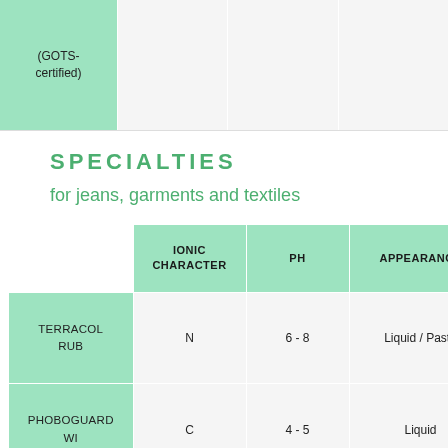|  | IONIC CHARACTER | PH | APPEARANCE |
| --- | --- | --- | --- |
| (GOTS-certified) |  |  |  |
| TERRACOL RUB | N | 6 - 8 | Liquid / Paste |
| PHOBOGUARD WI | C | 4 - 5 | Liquid |
SPECIALTIES
for jeans, garments and textiles